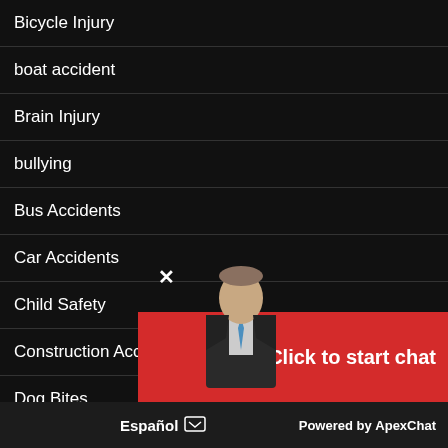Bicycle Injury
boat accident
Brain Injury
bullying
Bus Accidents
Car Accidents
Child Safety
Construction Accidents
Dog Bites
drone
Drowsy Driving
Escalator Accident
[Figure (screenshot): Chat widget with red bar saying 'Click to start chat', man in suit, close X button, 'Powered by ApexChat' footer, 'Español' button]
Click to start chat
Powered by ApexChat
Español